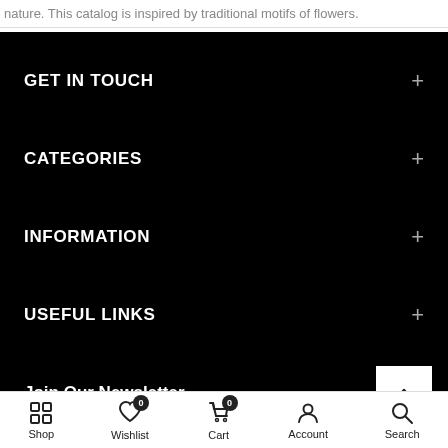nature. This catalog is inspired by traditional motifs of flowers.
GET IN TOUCH
CATEGORIES
INFORMATION
USEFUL LINKS
Join Our Newsletter
Shop  Wishlist 0  Cart 0  Account  Search